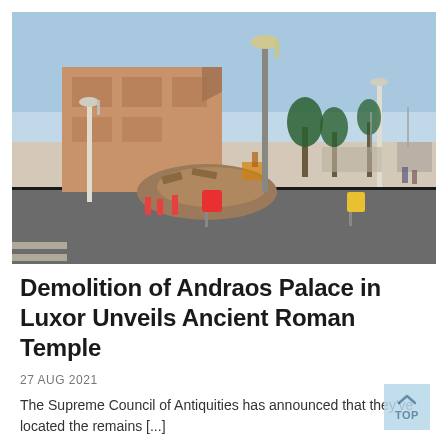[Figure (photo): Photograph showing the demolition of Andraos Palace in Luxor, Egypt. A partially collapsed ornate multi-story building is visible on the left, with rubble piled at its base. A wide empty road with road signs and lamp posts is in the foreground. The background shows palm trees, waterfront structures, and a clear blue sky.]
Demolition of Andraos Palace in Luxor Unveils Ancient Roman Temple
27 AUG 2021
The Supreme Council of Antiquities has announced that they've located the remains [...]